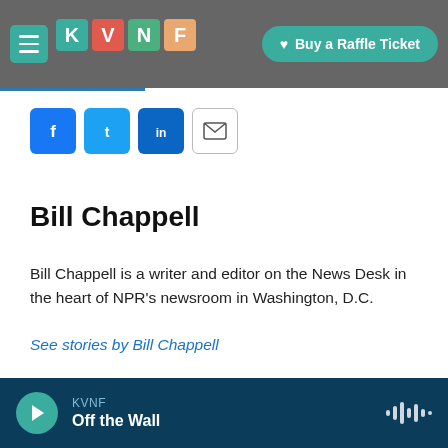KVNF | Buy a Raffle Ticket
[Figure (logo): KVNF radio station logo with colorful geometric letters K V N F on dark background, with hamburger menu button and Buy a Raffle Ticket button]
Bill Chappell
Bill Chappell is a writer and editor on the News Desk in the heart of NPR's newsroom in Washington, D.C.
See stories by Bill Chappell
KVNF Off the Wall